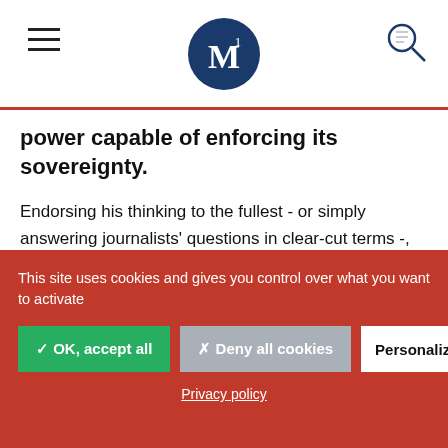M (logo)
power capable of enforcing its sovereignty.
Endorsing his thinking to the fullest - or simply answering journalists' questions in clear-cut terms -, Emmanuel Macron tackles other subjects, revealing what must be called a frustration with Europe. He agreed that the Germans have moved on the Eurozone budget (although we have "a problem of scale"). On the other hand, he strongly questions the policy of budgetary austerity
This site uses cookies and gives you control over what you want to activate
✓ OK, accept all
✗ Deny all cookies
Personalize
Privacy policy